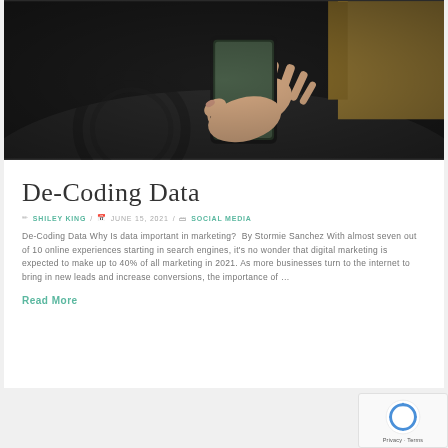[Figure (photo): Person holding a smartphone in a car interior, viewed from an angle showing the dashboard and steering wheel. The phone screen appears dark/off.]
De-Coding Data
✏ SHILEY KING / 📅 JUNE 15, 2021 / 🗃 SOCIAL MEDIA
De-Coding Data Why Is data important in marketing? By Stormie Sanchez With almost seven out of 10 online experiences starting in search engines, it's no wonder that digital marketing is expected to make up to 40% of all marketing in 2021. As more businesses turn to the internet to bring in new leads and increase conversions, the importance of …
Read More